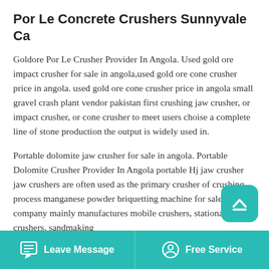Por Le Concrete Crushers Sunnyvale Ca
Goldore Por Le Crusher Provider In Angola. Used gold ore impact crusher for sale in angola,used gold ore cone crusher price in angola. used gold ore cone crusher price in angola small gravel crash plant vendor pakistan first crushing jaw crusher, or impact crusher, or cone crusher to meet users choise a complete line of stone production the output is widely used in.
Portable dolomite jaw crusher for sale in angola. Portable Dolomite Crusher Provider In Angola portable Hj jaw crusher jaw crushers are often used as the primary crusher of crushing process manganese powder briquetting machine for sale the company mainly manufactures mobile crushers, stationary crushers, sandmaking
Leave Message   Free Service